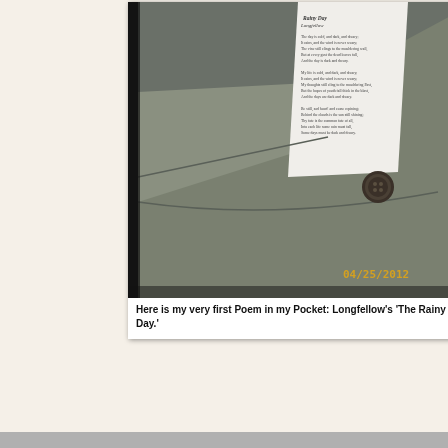[Figure (photo): Photograph of a denim pants pocket with a folded paper containing Longfellow's poem 'The Rainy Day' tucked inside. A button is visible. Date stamp '04/25/2012' appears in the lower right corner of the photo.]
Here is my very first Poem in my Pocket: Longfellow's 'The Rainy Day.'